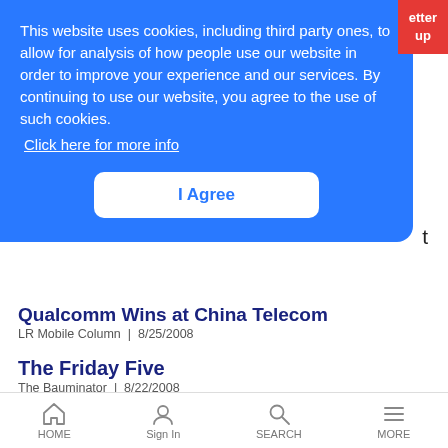This website uses cookies, including third party ones, to allow for analysis of how people use our website in order to improve your experience and our services. By continuing to use our website, you agree to the use of such cookies. Click here for more info
I Agree
Qualcomm Wins at China Telecom
LR Mobile Column | 8/25/2008
The Friday Five
The Bauminator | 8/22/2008
Calling attention to a handful of other cable-related things that happened
HOME   Sign In   SEARCH   MORE